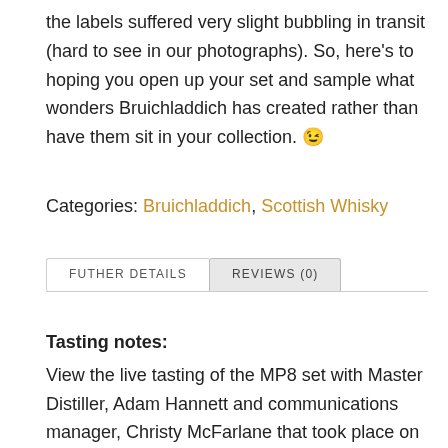the labels suffered very slight bubbling in transit (hard to see in our photographs). So, here's to hoping you open up your set and sample what wonders Bruichladdich has created rather than have them sit in your collection. 😉
Categories: Bruichladdich, Scottish Whisky
FUTHER DETAILS  REVIEWS (0)
Tasting notes:
View the live tasting of the MP8 set with Master Distiller, Adam Hannett and communications manager, Christy McFarlane that took place on the 13th of September 2019 here: